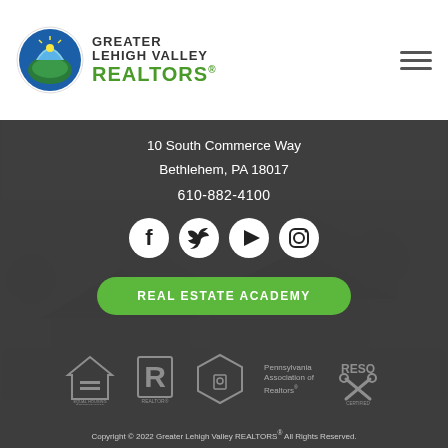[Figure (logo): Greater Lehigh Valley REALTORS logo with circular emblem]
10 South Commerce Way
Bethlehem, PA 18017
610-882-4100
[Figure (illustration): Social media icons: Facebook, Twitter, YouTube/Play, Instagram]
REAL ESTATE ACADEMY
[Figure (logo): Equal Housing Opportunity, REALTOR, Pennsylvania Association of Realtors, RESO Certified logos]
Copyright © 2022 Greater Lehigh Valley REALTORS® All Rights Reserved.
Privacy Policy & Terms of Use